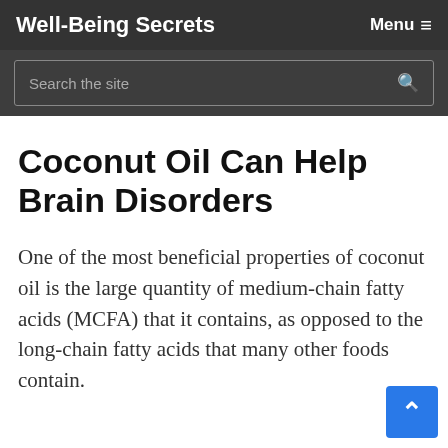Well-Being Secrets   Menu ≡
Search the site
Coconut Oil Can Help Brain Disorders
One of the most beneficial properties of coconut oil is the large quantity of medium-chain fatty acids (MCFA) that it contains, as opposed to the long-chain fatty acids that many other foods contain.